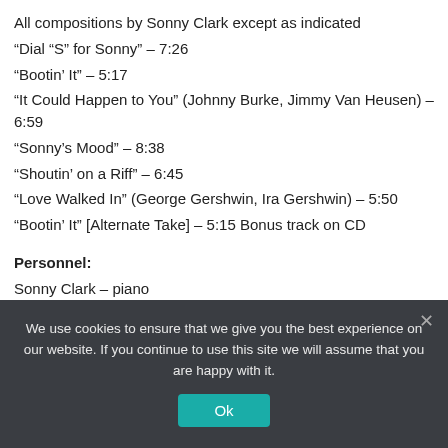All compositions by Sonny Clark except as indicated
“Dial “S” for Sonny” – 7:26
“Bootin’ It” – 5:17
“It Could Happen to You” (Johnny Burke, Jimmy Van Heusen) – 6:59
“Sonny’s Mood” – 8:38
“Shoutin’ on a Riff” – 6:45
“Love Walked In” (George Gershwin, Ira Gershwin) – 5:50
“Bootin’ It” [Alternate Take] – 5:15 Bonus track on CD
Personnel:
Sonny Clark – piano
Art Farmer – trumpet (tracks 1-5 & 7)
Curtis Fuller – trombone (tracks 1-5 & 7)
Hank Mobley – tenor saxophone (tracks 1-5 & 7)
Wilbur Ware – bass
We use cookies to ensure that we give you the best experience on our website. If you continue to use this site we will assume that you are happy with it.